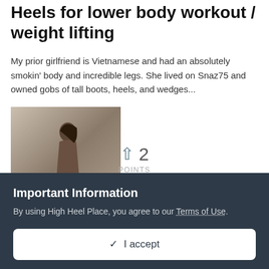Heels for lower body workout / weight lifting
My prior girlfriend is Vietnamese and had an absolutely smokin' body and incredible legs. She lived on Snaz75 and owned gobs of tall boots, heels, and wedges...
[Figure (photo): Photo of a woman with long hair posing on what appears to be a boat or dock, wearing heels]
August 10
↑ 2
POINTS
Important Information
By using High Heel Place, you agree to our Terms of Use.
✓ I accept